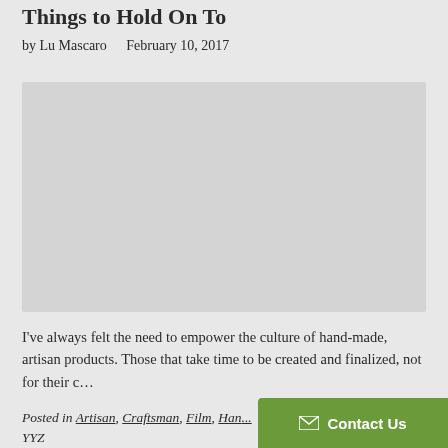Things to Hold On To
by Lu Mascaro   February 10, 2017
[Figure (photo): Gray placeholder image for article photo]
I've always felt the need to empower the culture of hand-made, artisan products. Those that take time to be created and finalized, not for their c…
Posted in Artisan, Craftsman, Film, Han..., YYZ